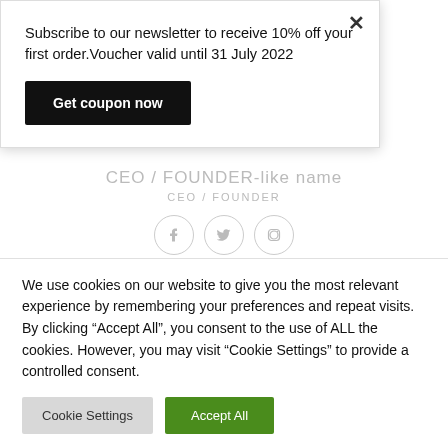Subscribe to our newsletter to receive 10% off your first order.Voucher valid until 31 July 2022
Get coupon now
CEO / FOUNDER
Lorem ipsum dolor sit amet, consectetur adipiscing elit. Proin ullamcorper.
We use cookies on our website to give you the most relevant experience by remembering your preferences and repeat visits. By clicking "Accept All", you consent to the use of ALL the cookies. However, you may visit "Cookie Settings" to provide a controlled consent.
Cookie Settings
Accept All